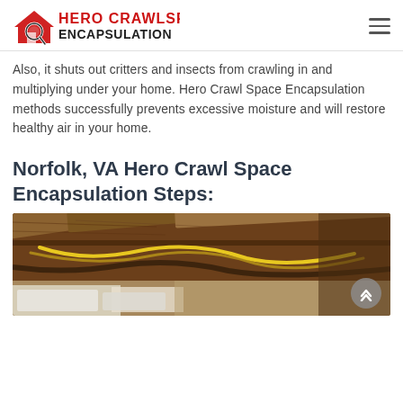Hero Crawlspace Encapsulation
Also, it shuts out critters and insects from crawling in and multiplying under your home. Hero Crawl Space Encapsulation methods successfully prevents excessive moisture and will restore healthy air in your home.
Norfolk, VA Hero Crawl Space Encapsulation Steps:
[Figure (photo): Photo of a crawl space showing wooden beams, insulation, and wiring/cables, viewed from inside the crawl space looking up.]